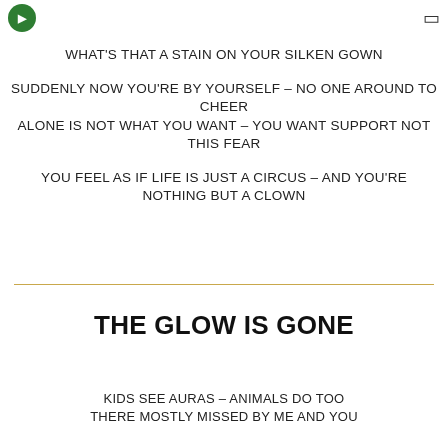WHAT'S THAT A STAIN ON YOUR SILKEN GOWN
SUDDENLY NOW YOU'RE BY YOURSELF – NO ONE AROUND TO CHEER
ALONE IS NOT WHAT YOU WANT – YOU WANT SUPPORT NOT THIS FEAR
YOU FEEL AS IF LIFE IS JUST A CIRCUS – AND YOU'RE NOTHING BUT A CLOWN
THE GLOW IS GONE
KIDS SEE AURAS – ANIMALS DO TOO
THERE MOSTLY MISSED BY ME AND YOU